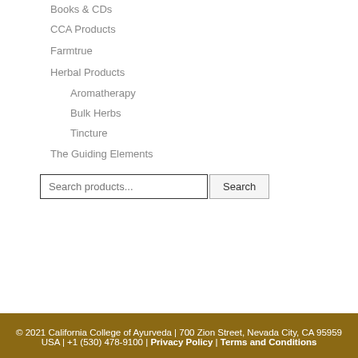Books & CDs
CCA Products
Farmtrue
Herbal Products
Aromatherapy
Bulk Herbs
Tincture
The Guiding Elements
Search products...
© 2021 California College of Ayurveda | 700 Zion Street, Nevada City, CA 95959 USA | +1 (530) 478-9100 | Privacy Policy | Terms and Conditions